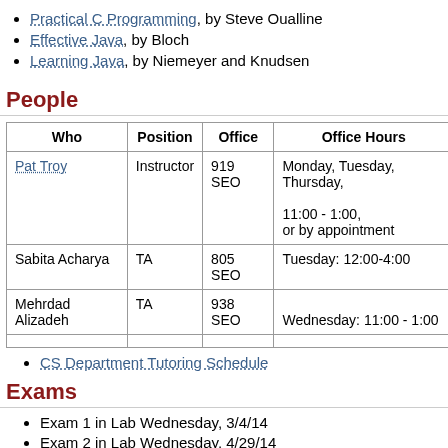Practical C Programming, by Steve Oualline
Effective Java, by Bloch
Learning Java, by Niemeyer and Knudsen
People
| Who | Position | Office | Office Hours |
| --- | --- | --- | --- |
| Pat Troy | Instructor | 919 SEO | Monday, Tuesday, Thursday,
11:00 - 1:00,
or by appointment |
| Sabita Acharya | TA | 805 SEO | Tuesday: 12:00-4:00 |
| Mehrdad Alizadeh | TA | 938 SEO | Wednesday: 11:00 - 1:00 |
CS Department Tutoring Schedule
Exams
Exam 1 in Lab Wednesday, 3/4/14
Exam 2 in Lab Wednesday, 4/29/14
Assignments